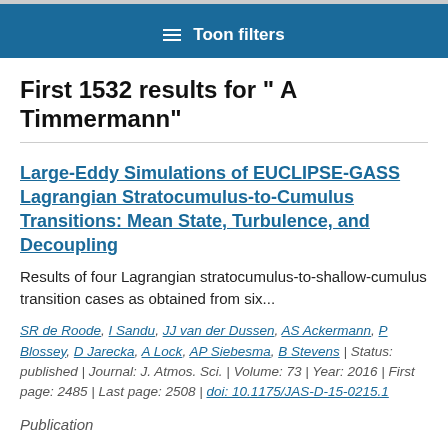Toon filters
First 1532 results for " A Timmermann"
Large-Eddy Simulations of EUCLIPSE-GASS Lagrangian Stratocumulus-to-Cumulus Transitions: Mean State, Turbulence, and Decoupling
Results of four Lagrangian stratocumulus-to-shallow-cumulus transition cases as obtained from six...
SR de Roode, I Sandu, JJ van der Dussen, AS Ackermann, P Blossey, D Jarecka, A Lock, AP Siebesma, B Stevens | Status: published | Journal: J. Atmos. Sci. | Volume: 73 | Year: 2016 | First page: 2485 | Last page: 2508 | doi: 10.1175/JAS-D-15-0215.1
Publication